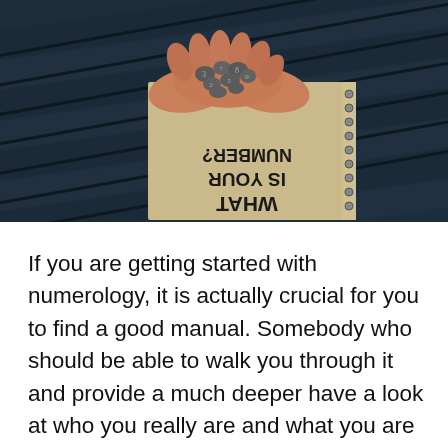[Figure (photo): Hands holding small stones with numbers/runes, over a spiral-bound notebook with the text 'WHAT IS YOUR NUMBER?' written in mirror/upside-down text, set on a dark wooden bench background.]
If you are getting started with numerology, it is actually crucial for you to find a good manual. Somebody who should be able to walk you through it and provide a much deeper have a look at who you really are and what you are